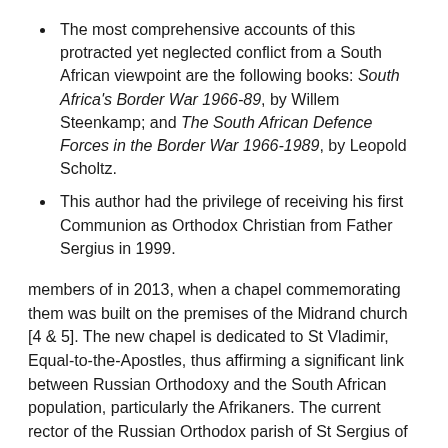The most comprehensive accounts of this protracted yet neglected conflict from a South African viewpoint are the following books: South Africa's Border War 1966-89, by Willem Steenkamp; and The South African Defence Forces in the Border War 1966-1989, by Leopold Scholtz.
This author had the privilege of receiving his first Communion as Orthodox Christian from Father Sergius in 1999.
members of in 2013, when a chapel commemorating them was built on the premises of the Midrand church [4 & 5]. The new chapel is dedicated to St Vladimir, Equal-to-the-Apostles, thus affirming a significant link between Russian Orthodoxy and the South African population, particularly the Afrikaners. The current rector of the Russian Orthodox parish of St Sergius of Radonezh in Midrand is Father Daniel Lugovoy, who also travels to Cape Town periodically to serve the Slavonic liturgy in a newly built chapel there. In addition to